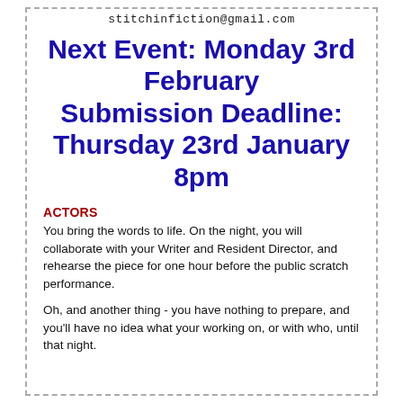stitchinfiction@gmail.com
Next Event: Monday 3rd February Submission Deadline: Thursday 23rd January 8pm
ACTORS
You bring the words to life. On the night, you will collaborate with your Writer and Resident Director, and rehearse the piece for one hour before the public scratch performance.
Oh, and another thing - you have nothing to prepare, and you'll have no idea what your working on, or with who, until that night.